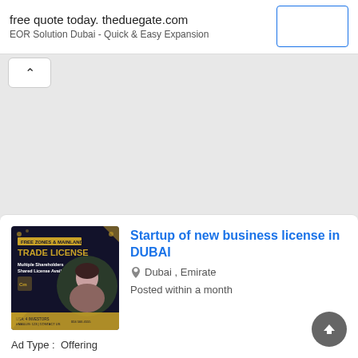free quote today. theduegate.com
EOR Solution Dubai - Quick & Easy Expansion
[Figure (screenshot): Gray empty map/content area with a collapse chevron button in the top-left corner]
[Figure (photo): Dark themed trade license advertisement image showing 'FREE ZONES & MAINLAND TRADE LICENSE, Multiple Shareholders Shared License Available' with a woman on phone]
Startup of new business license in DUBAI
Dubai , Emirate
Posted within a month
Ad Type :  Offering